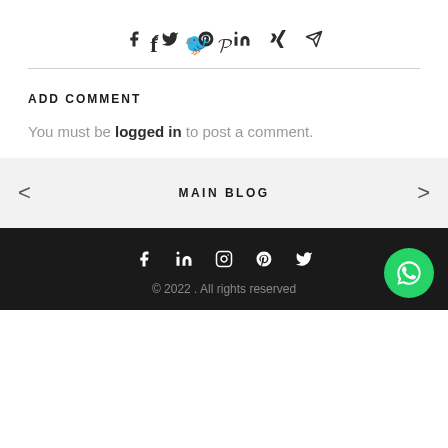[Figure (other): Social share icons row: Facebook, Twitter, Pinterest, LinkedIn, Xing, Send/Telegram]
ADD COMMENT
You must be logged in to post a comment.
< MAIN BLOG >
[Figure (other): Footer social icons: Facebook, LinkedIn, Instagram, Pinterest, Twitter]
© 2022 . All rights reserved